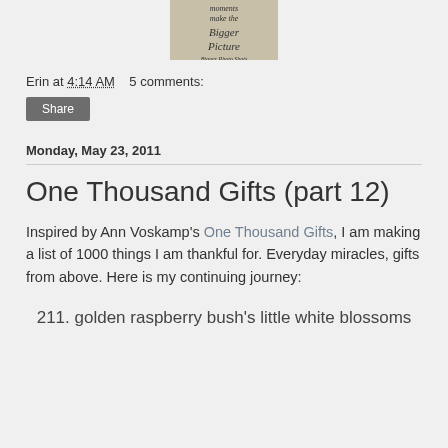[Figure (photo): A handwritten note on aged paper reading 'moments make the Bigger Picture']
Erin at 4:14 AM    5 comments:
Share
Monday, May 23, 2011
One Thousand Gifts (part 12)
Inspired by Ann Voskamp's One Thousand Gifts, I am making a list of 1000 things I am thankful for. Everyday miracles, gifts from above. Here is my continuing journey:
211. golden raspberry bush's little white blossoms